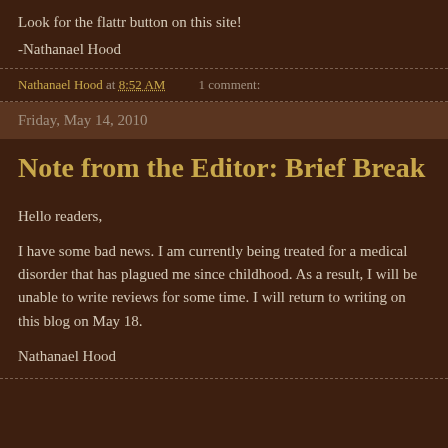Look for the flattr button on this site!
-Nathanael Hood
Nathanael Hood at 8:52 AM    1 comment:
Friday, May 14, 2010
Note from the Editor: Brief Break
Hello readers,
I have some bad news. I am currently being treated for a medical disorder that has plagued me since childhood. As a result, I will be unable to write reviews for some time. I will return to writing on this blog on May 18.
Nathanael Hood